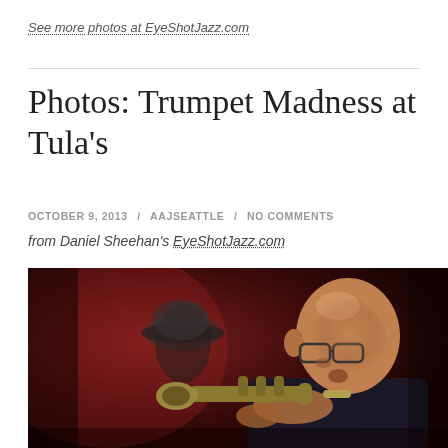See more photos at EyeShotJazz.com
Photos: Trumpet Madness at Tula's
OCTOBER 9, 2013 / AAJSEATTLE / NO COMMENTS
from Daniel Sheehan's EyeShotJazz.com
[Figure (photo): A bald man wearing glasses playing a trumpet, photographed in a dark venue with a blurred figure in a hat in the background. The photo is atmospheric with dark red/maroon background tones.]